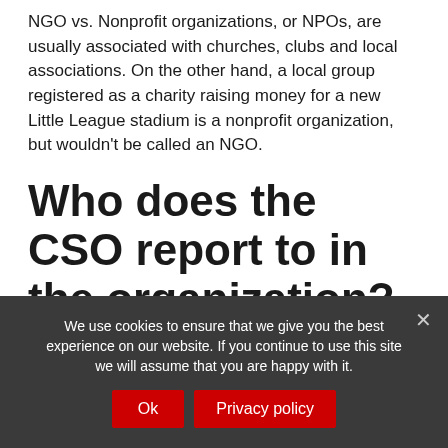NGO vs. Nonprofit organizations, or NPOs, are usually associated with churches, clubs and local associations. On the other hand, a local group registered as a charity raising money for a new Little League stadium is a nonprofit organization, but wouldn't be called an NGO.
Who does the CSO report to in the organization?
We use cookies to ensure that we give you the best experience on our website. If you continue to use this site we will assume that you are happy with it.